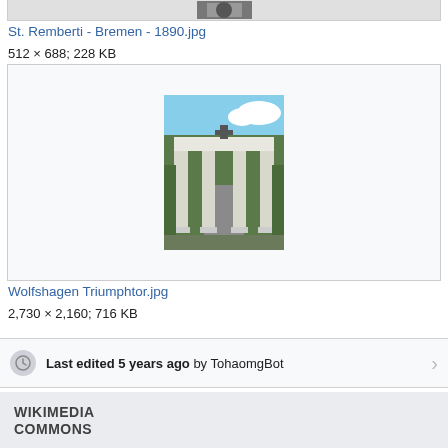[Figure (photo): Top portion of a photo (cropped), dark silhouette image]
St. Remberti - Bremen - 1890.jpg
512 × 688; 228 KB
[Figure (photo): Photo of Wolfshagen Triumphtor: a white classical arch gate with columns and an Iron Cross on top, surrounded by trees]
Wolfshagen Triumphtor.jpg
2,730 × 2,160; 716 KB
Last edited 5 years ago by TohaomgBot
WIKIMEDIA
COMMONS